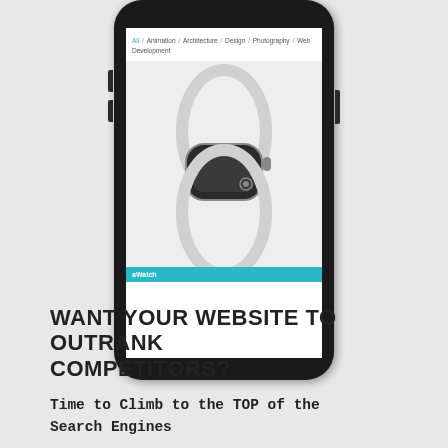[Figure (screenshot): Smartphone mockup showing a website with navigation links (All, Animation, Architecture, Design, Photography, Web Development) and an Apple Watch product image with a teal label bar reading 'aWatch']
WANT YOUR WEBSITE TO OUTRANK COMPETITORS?
Time to Climb to the TOP of the Search Engines